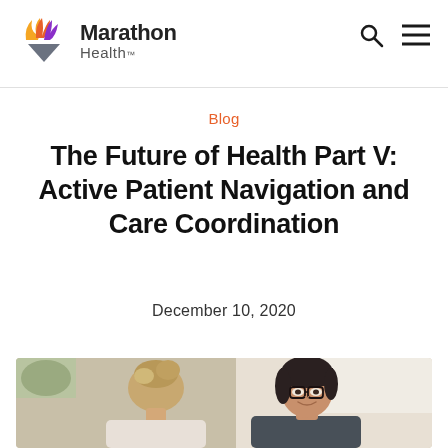[Figure (logo): Marathon Health logo with stylized flame/crown icon in orange, red, purple and a downward pointing gray triangle, followed by text 'Marathon Health']
Blog
The Future of Health Part V: Active Patient Navigation and Care Coordination
December 10, 2020
[Figure (photo): Photo of two women, one facing away with blonde upswept hair, the other facing camera wearing glasses with short dark hair, in a bright clinical/office setting]